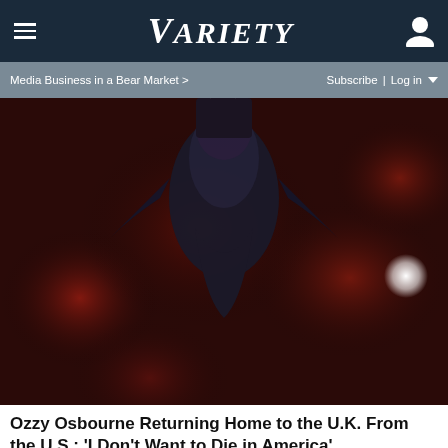VARIETY
Media Business in a Bear Market > | Subscribe | Log in
[Figure (photo): Dark concert photograph showing a performer (Ozzy Osbourne) suspended upside down, wearing dark clothing, with a red and dark bokeh background and bright spotlight circles.]
Ozzy Osbourne Returning Home to the U.K. From the U.S.: 'I Don't Want to Die in America'
Promoted Links by Taboola
ADVERTISEMENT
[Figure (screenshot): Advertisement banner with teal/cyan top bar and HC (Hair Club) yellow logo badge. Text reads: View store hours, get directions, or call your salon!]